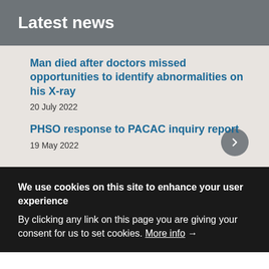Latest news
Man died after doctors missed opportunities to identify abnormalities on his X-ray
20 July 2022
PHSO response to PACAC inquiry report
19 May 2022
We use cookies on this site to enhance your user experience
By clicking any link on this page you are giving your consent for us to set cookies. More info →